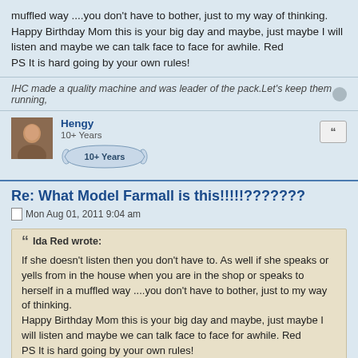muffled way ....you don't have to bother, just to my way of thinking. Happy Birthday Mom this is your big day and maybe, just maybe I will listen and maybe we can talk face to face for awhile. Red
PS It is hard going by your own rules!
IHC made a quality machine and was leader of the pack.Let's keep them running,
Hengy
10+ Years
Re: What Model Farmall is this!!!!!???????
Mon Aug 01, 2011 9:04 am
Ida Red wrote:
If she doesn't listen then you don't have to. As well if she speaks or yells from in the house when you are in the shop or speaks to herself in a muffled way ....you don't have to bother, just to my way of thinking.
Happy Birthday Mom this is your big day and maybe, just maybe I will listen and maybe we can talk face to face for awhile. Red
PS It is hard going by your own rules!